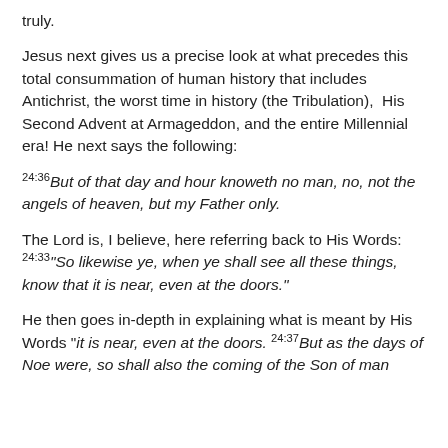truly.
Jesus next gives us a precise look at what precedes this total consummation of human history that includes Antichrist, the worst time in history (the Tribulation),  His Second Advent at Armageddon, and the entire Millennial era! He next says the following:
24:36But of that day and hour knoweth no man, no, not the angels of heaven, but my Father only.
The Lord is, I believe, here referring back to His Words: 24:33"So likewise ye, when ye shall see all these things, know that it is near, even at the doors."
He then goes in-depth in explaining what is meant by His Words "it is near, even at the doors. 24:37But as the days of Noe were, so shall also the coming of the Son of man